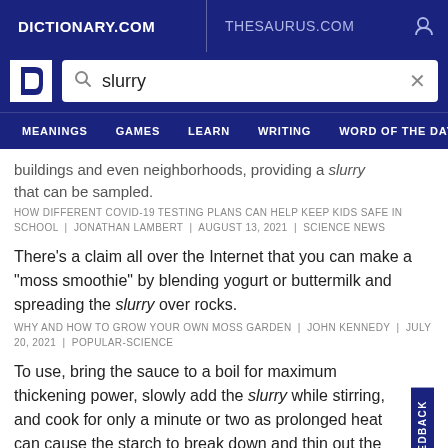DICTIONARY.COM | THESAURUS.COM
slurry
MEANINGS | GAMES | LEARN | WRITING | WORD OF THE DAY
buildings and even neighborhoods, providing a slurry that can be sampled.
HOW DIFFERENT COVID-19 TESTING PLANS CAN HELP KEEP KIDS SAFE IN SCHOOL | JONATHAN LAMBERT | AUGUST 13, 2021 | SCIENCE NEWS
There’s a claim all over the Internet that you can make a “moss smoothie” by blending yogurt or buttermilk and spreading the slurry over rocks.
WHY AND HOW TO GROW YOUR OWN MOSS GARDEN | JOHN KENNEDY | JULY 20, 2021 | POPULAR-SCIENCE
To use, bring the sauce to a boil for maximum thickening power, slowly add the slurry while stirring, and cook for only a minute or two as prolonged heat can cause the starch to break down and thin out the sauce again.
SAUCE, GRAVY OR STEW TOO THIN? WE’VE GOT 3 WAYS TO FIX THAT | AARON HUTCHERSON | FEBRUARY 13, 2021 | WASHINGTON